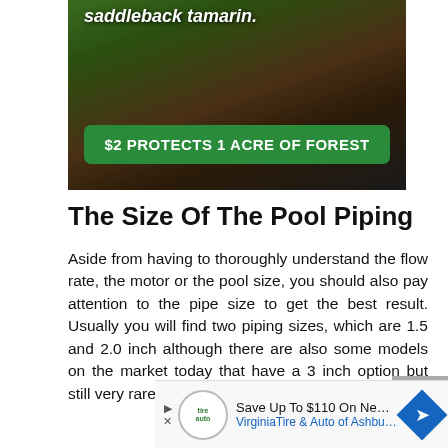[Figure (photo): Advertisement banner showing a saddleback tamarin monkey with green foliage, with a green button reading '$2 PROTECTS 1 ACRE OF FOREST']
The Size Of The Pool Piping
Aside from having to thoroughly understand the flow rate, the motor or the pool size, you should also pay attention to the pipe size to get the best result. Usually you will find two piping sizes, which are 1.5 and 2.0 inch although there are also some models on the market today that have a 3 inch option but still very rare.
[Figure (infographic): Advertisement banner for Virginia Tire & Auto of Ashburn Fa. - Save Up To $110 On New Tires]